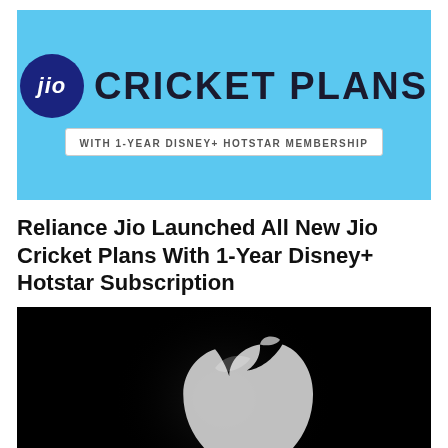[Figure (illustration): Jio Cricket Plans banner with light blue background. Shows Jio logo (white text on dark blue circle) on the left, 'CRICKET PLANS' in large dark text on the right, and a white badge below reading 'WITH 1-YEAR DISNEY+ HOTSTAR MEMBERSHIP'.]
Reliance Jio Launched All New Jio Cricket Plans With 1-Year Disney+ Hotstar Subscription
[Figure (photo): Dark/black background photo showing a glowing white Apple logo on a device (iPhone/Apple product). The logo is centered and illuminated against the very dark background.]